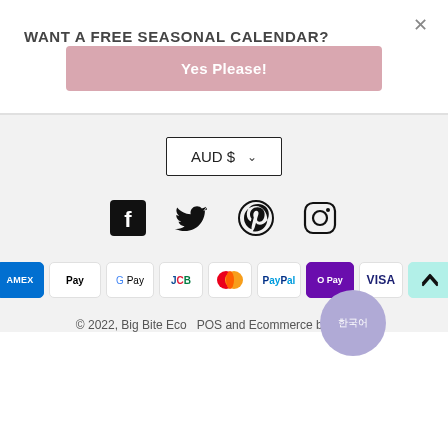WANT A FREE SEASONAL CALENDAR?
Yes Please!
AUD $ ▾
[Figure (illustration): Social media icons: Facebook, Twitter, Pinterest, Instagram]
[Figure (illustration): Payment method badges: AMEX, Apple Pay, Google Pay, JCB, Mastercard, PayPal, O Pay, VISA, afterpay]
© 2022, Big Bite Eco  POS and Ecommerce by Shopify